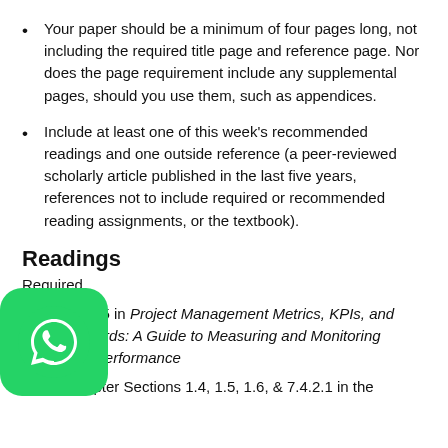Your paper should be a minimum of four pages long, not including the required title page and reference page. Nor does the page requirement include any supplemental pages, should you use them, such as appendices.
Include at least one of this week's recommended readings and one outside reference (a peer-reviewed scholarly article published in the last five years, references not to include required or recommended reading assignments, or the textbook).
Readings
Required
Chapter 5 in Project Management Metrics, KPIs, and Dashboards: A Guide to Measuring and Monitoring Project Performance
Chapter Sections 1.4, 1.5, 1.6, & 7.4.2.1 in the